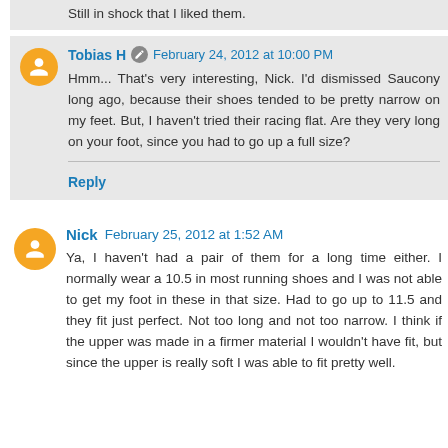Still in shock that I liked them.
Tobias H · February 24, 2012 at 10:00 PM
Hmm... That's very interesting, Nick. I'd dismissed Saucony long ago, because their shoes tended to be pretty narrow on my feet. But, I haven't tried their racing flat. Are they very long on your foot, since you had to go up a full size?
Reply
Nick · February 25, 2012 at 1:52 AM
Ya, I haven't had a pair of them for a long time either. I normally wear a 10.5 in most running shoes and I was not able to get my foot in these in that size. Had to go up to 11.5 and they fit just perfect. Not too long and not too narrow. I think if the upper was made in a firmer material I wouldn't have fit, but since the upper is really soft I was able to fit pretty well.